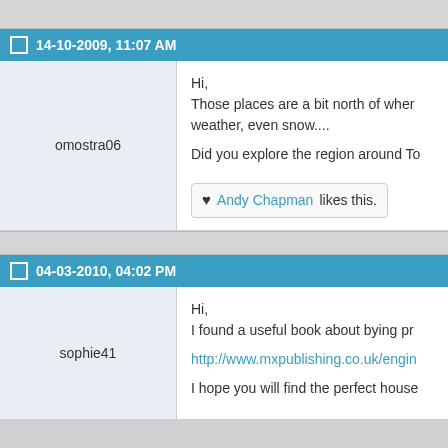14-10-2009, 11:07 AM
omostra06
Hi,
Those places are a bit north of where... weather, even snow....

Did you explore the region around To

Andy Chapman likes this.
04-03-2010, 04:02 PM
sophie41
Hi,
I found a useful book about bying pr...

http://www.mxpublishing.co.uk/engin...

I hope you will find the perfect house